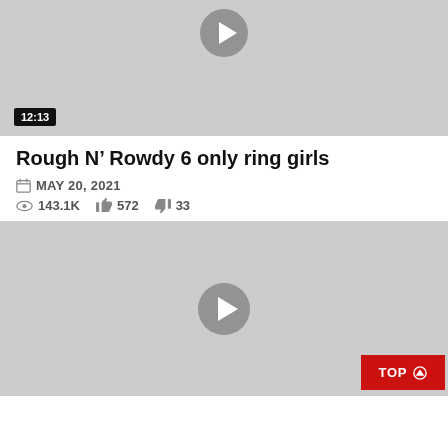[Figure (screenshot): Video thumbnail placeholder (gray background) with play button at top and duration badge '12:13' at bottom left]
Rough N' Rowdy 6 only ring girls
MAY 20, 2021
143.1K  572  33
[Figure (screenshot): Second video thumbnail placeholder (gray background) with play button in center]
TOP